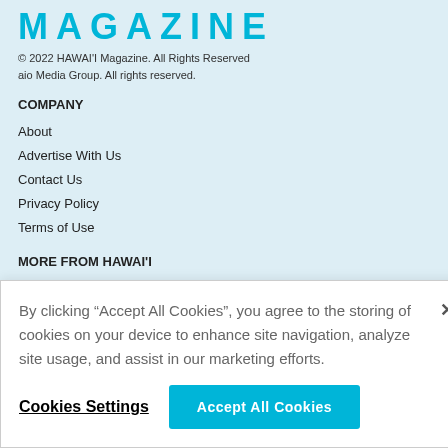MAGAZINE
© 2022 HAWAI'I Magazine. All Rights Reserved
aio Media Group. All rights reserved.
COMPANY
About
Advertise With Us
Contact Us
Privacy Policy
Terms of Use
MORE FROM HAWAI'I
Archives
By clicking “Accept All Cookies”, you agree to the storing of cookies on your device to enhance site navigation, analyze site usage, and assist in our marketing efforts.
Cookies Settings
Accept All Cookies